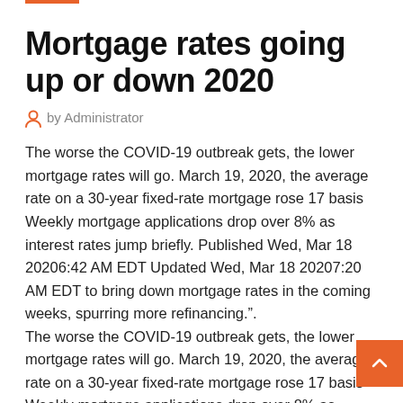Mortgage rates going up or down 2020
by Administrator
The worse the COVID-19 outbreak gets, the lower mortgage rates will go. March 19, 2020, the average rate on a 30-year fixed-rate mortgage rose 17 basis   Weekly mortgage applications drop over 8% as interest rates jump briefly. Published Wed, Mar 18 20206:42 AM EDT Updated Wed, Mar 18 20207:20 AM EDT to bring down mortgage rates in the coming weeks, spurring more refinancing.”.
The worse the COVID-19 outbreak gets, the lower mortgage rates will go. March 19, 2020, the average rate on a 30-year fixed-rate mortgage rose 17 basis   Weekly mortgage applications drop over 8% as interest rates jump briefly. Published Wed, Mar 18 20206:42 AM EDT Updated Wed, Mar 18 20207:20 AM EDT to bring down mortgage rates in the coming weeks, spurring more refinancing.”.